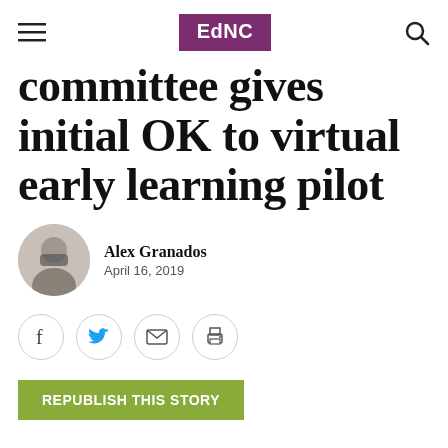EdNC
committee gives initial OK to virtual early learning pilot
Alex Granados
April 16, 2019
[Figure (infographic): Social sharing buttons: Facebook, Twitter, Email, Print]
REPUBLISH THIS STORY